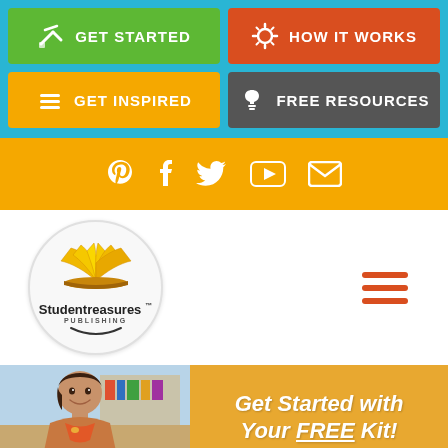[Figure (screenshot): Navigation buttons: GET STARTED (green), HOW IT WORKS (red-orange), GET INSPIRED (yellow), FREE RESOURCES (gray) on cyan background]
[Figure (infographic): Social media icon bar in yellow/orange: Pinterest, Facebook, Twitter, YouTube, Email icons in white]
[Figure (logo): Studenttreasures Publishing circular logo with open book graphic in gold/yellow]
[Figure (infographic): Orange hamburger menu icon (three horizontal lines)]
[Figure (photo): Hero section showing smiling teacher woman with colorful classroom background, orange overlay with text]
Get Started with Your FREE Kit!